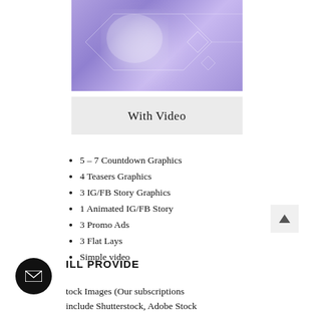[Figure (illustration): Purple/violet abstract background image with geometric diamond/hexagon line patterns and a soft white light blur in the center-left area]
With Video
5 – 7 Countdown Graphics
4 Teasers Graphics
3 IG/FB Story Graphics
1 Animated IG/FB Story
3 Promo Ads
3 Flat Lays
Simple video
WILL PROVIDE
Stock Images (Our subscriptions include Shutterstock, Adobe Stock